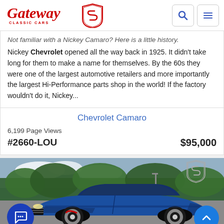[Figure (logo): Gateway Classic Cars logo with red cursive text and shield emblem]
Not familiar with a Nickey Camaro? Here is a little history. Nickey Chevrolet opened all the way back in 1925. It didn't take long for them to make a name for themselves. By the 60s they were one of the largest automotive retailers and more importantly the largest Hi-Performance parts shop in the world! If the factory wouldn't do it, Nickey...
Chevrolet Camaro
6,199 Page Views
#2660-LOU    $95,000
[Figure (photo): Blue Chevrolet Camaro classic car parked outdoors, front three-quarter view, with trees in background]